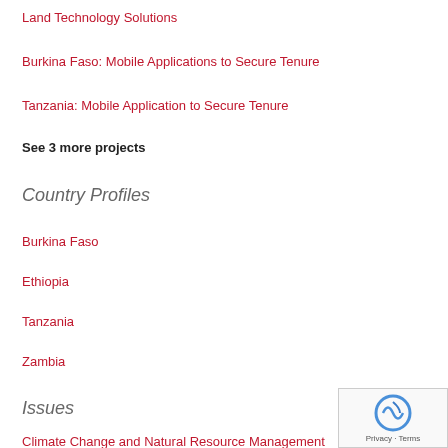Land Technology Solutions
Burkina Faso: Mobile Applications to Secure Tenure
Tanzania: Mobile Application to Secure Tenure
See 3 more projects
Country Profiles
Burkina Faso
Ethiopia
Tanzania
Zambia
Issues
Climate Change and Natural Resource Management